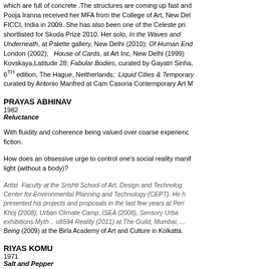which are full of concrete .The structures are coming up fast and... Pooja Iranna received her MFA from the College of Art, New Delhi... FICCI, India in 2009. She has also been one of the Celeste pri... shortlisted for Skoda Prize 2010. Her solo, In the Waves and Underneath, at Palette gallery, New Delhi (2010); Of Human End... London (2002); House of Cards, at Art Inc, New Delhi (1999)... Kovskaya,Latitude 28; Fabular Bodies, curated by Gayatri Sinha,... 6TH edition, The Hague, Neitherlands; Liquid Cities & Temporary... curated by Antonio Manfred at Cam Casoria Contemporary Art M...
PRAYAS ABHINAV
1982
Reluctance
With fluidity and coherence being valued over coarse experience... fiction.
How does an obsessive urge to control one's social reality manif... light (without a body)?
Artist  Faculty at the Srishti School of Art, Design and Technology... Center for Environmental Planning and Technology (CEPT). He h... presented his projects and proposals in the last few years at Peri... Khoj (2008), Urban Climate Camp, ISEA (2008), Sensory Urba... exhibitions Myth .. u8594 Reality (2011) at The Guild, Mumbai,... Being (2009) at the Birla Academy of Art and Culture in Kolkatta.
RIYAS KOMU
1971
Salt and Pepper
Migration and identity play a pivotal role in Komu's art practice.... Mumbai. His works question the urban phenomena of migration, ...
Riyas Komu graduated with Painting as his specialization and ha... by Robert Storr. Other museum exhibits include Shadow Lines... ...